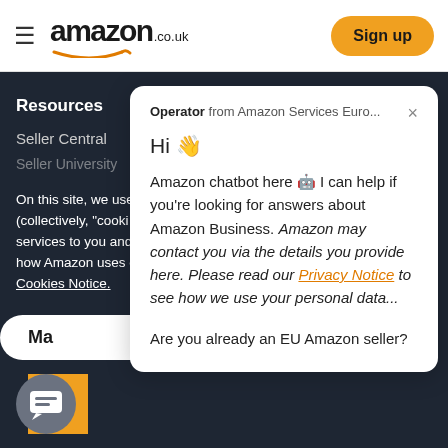amazon.co.uk — Sign up
Resources
Seller Central
Seller University
On this site, we use (collectively, "cooki services to you and how Amazon uses o Cookies Notice.
Ma
[Figure (screenshot): Chat popup widget with Amazon operator chatbot message]
Operator from Amazon Services Euro... Hi 👋 Amazon chatbot here 🤖 I can help if you're looking for answers about Amazon Business. Amazon may contact you via the details you provide here. Please read our Privacy Notice to see how we use your personal data... Are you already an EU Amazon seller?